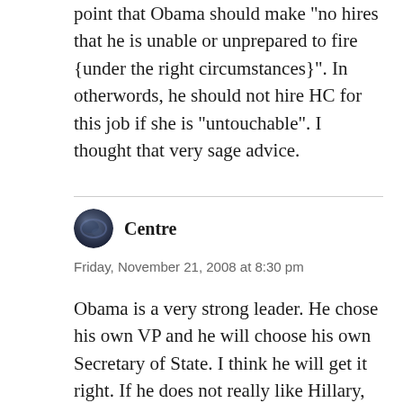...and this too brought up the salient point that Obama should make "no hires that he is unable or unprepared to fire {under the right circumstances}". In otherwords, he should not hire HC for this job if she is "untouchable". I thought that very sage advice.
Centre
Friday, November 21, 2008 at 8:30 pm
Obama is a very strong leader. He chose his own VP and he will choose his own Secretary of State. I think he will get it right. If he does not really like Hillary, too bad for Hillary. To think that Hillary might challenge Obama in 2012 is ridiculous. She would have a better chance